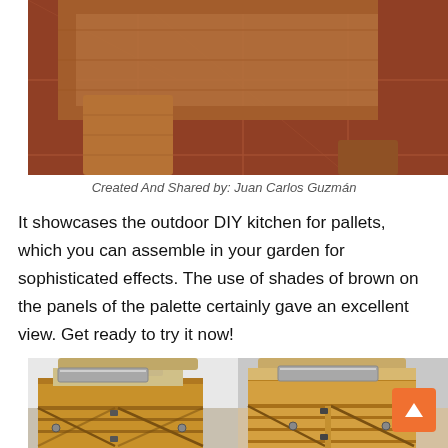[Figure (photo): Close-up photo of wooden pallet furniture pieces (corner joints) on a red tile floor. The wood is warm reddish-brown in color.]
Created And Shared by: Juan Carlos Guzmán
It showcases the outdoor DIY kitchen for pallets, which you can assemble in your garden for sophisticated effects. The use of shades of brown on the panels of the palette certainly gave an excellent view. Get ready to try it now!
[Figure (photo): Two side-by-side photos of a DIY outdoor kitchen sink cabinet made from wooden pallets. The cabinet has two doors with diagonal wood slat detailing and metal hinges, and a stainless steel sink on top. Left photo shows a slightly angled left-front view; right photo shows a slightly angled right-front view.]